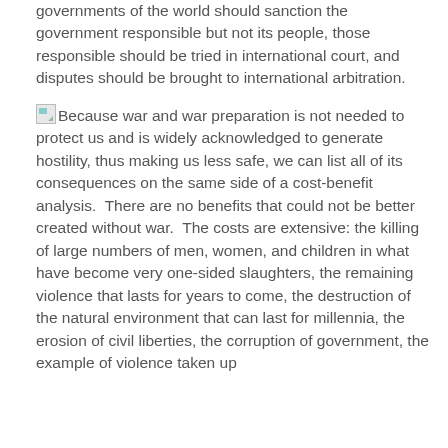governments of the world should sanction the government responsible but not its people, those responsible should be tried in international court, and disputes should be brought to international arbitration.
Because war and war preparation is not needed to protect us and is widely acknowledged to generate hostility, thus making us less safe, we can list all of its consequences on the same side of a cost-benefit analysis. There are no benefits that could not be better created without war. The costs are extensive: the killing of large numbers of men, women, and children in what have become very one-sided slaughters, the remaining violence that lasts for years to come, the destruction of the natural environment that can last for millennia, the erosion of civil liberties, the corruption of government, the example of violence taken up